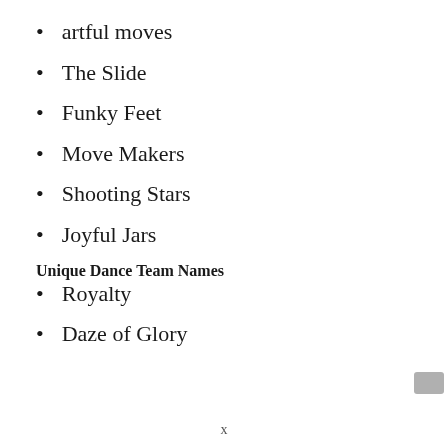artful moves
The Slide
Funky Feet
Move Makers
Shooting Stars
Joyful Jars
Unique Dance Team Names
Royalty
Daze of Glory